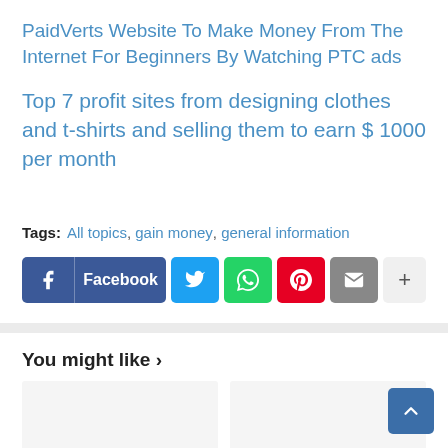PaidVerts Website To Make Money From The Internet For Beginners By Watching PTC ads
Top 7 profit sites from designing clothes and t-shirts and selling them to earn $ 1000 per month
Tags: All topics, gain money, general information
[Figure (infographic): Social share buttons: Facebook, Twitter, WhatsApp, Pinterest, Email, and a more (+) button]
You might like >
[Figure (other): Two image card placeholders side by side in the You might like section]